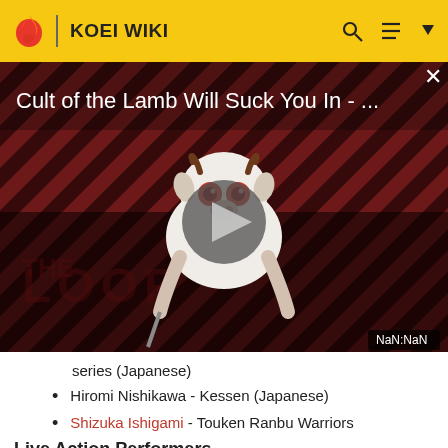KOEI WIKI
[Figure (screenshot): Video thumbnail for 'Cult of the Lamb Will Suck You In - ...' with a play button overlay, striped dark red background, a cartoon lamb character, 'THE LOOP' watermark, and NaN:NaN time display.]
series (Japanese)
Hiromi Nishikawa - Kessen (Japanese)
Shizuka Ishigami - Touken Ranbu Warriors
Live Action Performers
Yoko Kono - ...